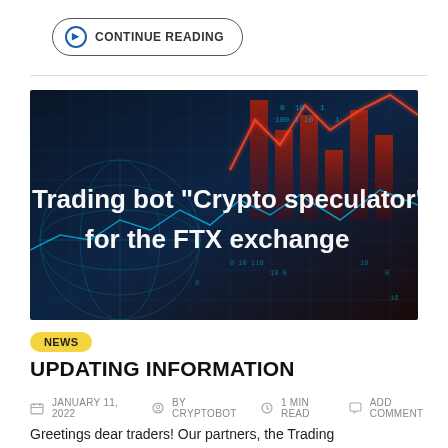CONTINUE READING
[Figure (photo): Dark digital trading background with glowing charts, binary numbers, and globe wireframe. Overlay text reads: Trading bot "Crypto speculator" for the FTX exchange]
NEWS
UPDATING INFORMATION
JANUARY 11, 2022  BY CRYPTOBOT  1 MIN READ  ADD COMMENT
Greetings dear traders! Our partners, the Trading